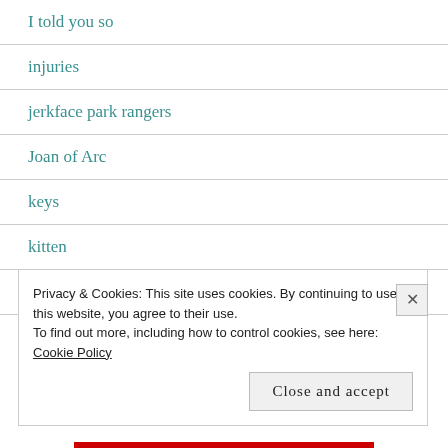I told you so
injuries
jerkface park rangers
Joan of Arc
keys
kitten
large salads
Privacy & Cookies: This site uses cookies. By continuing to use this website, you agree to their use. To find out more, including how to control cookies, see here: Cookie Policy
Close and accept